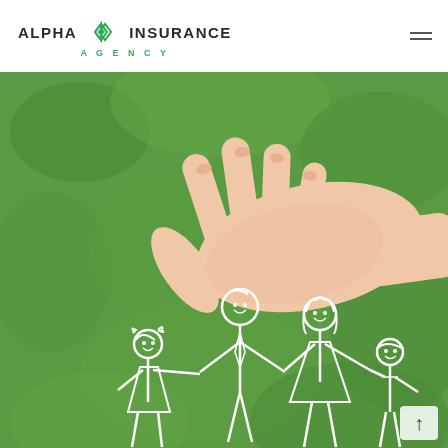ALPHA INSURANCE AGENCY
[Figure (photo): A human hand held flat and protective over chalk-drawn stick figures of a family of four (father, mother, daughter, son) on a green grass background — illustrating family insurance protection. The image is a hero/banner photo for Alpha Insurance Agency.]